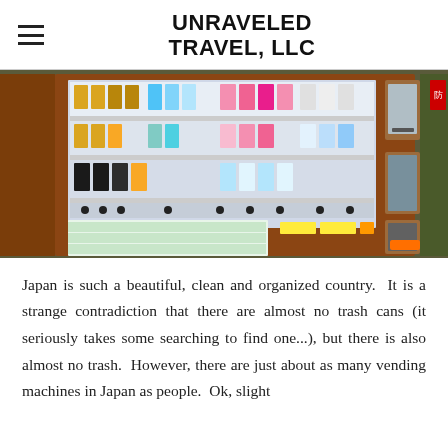UNRAVELED TRAVEL, LLC
[Figure (photo): A colorful Japanese vending machine stocked with various drinks and products, mounted in a wooden-framed unit, photographed outdoors.]
Japan is such a beautiful, clean and organized country.  It is a strange contradiction that there are almost no trash cans (it seriously takes some searching to find one...), but there is also almost no trash.  However, there are just about as many vending machines in Japan as people.  Ok, slight